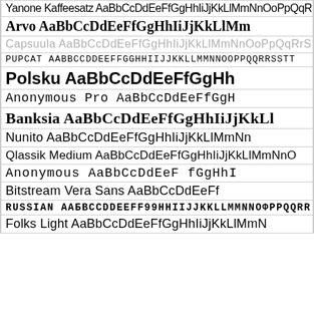Yanone Kaffeesatz AaBbCcDdEeFfGgHhIiJjKkLlMmNnOoPpQqRr
Arvo AaBbCcDdEeFfGgHhIiJjKkLlMm
Capsuula AaBbCcDdEeFfGgHhIiJjKkLlMmNnOoPpQqRrS
PUPCAT aaBBCCDDeEFFGGHHIIJJKKLLMMNNOOPPQQrrSSTT
Polsku AaBbCcDdEeFfGgHh
Anonymous Pro AaBbCcDdEeFfGgH
Banksia AaBbCcDdEeFfGgHhIiJjKkLl
Nunito AaBbCcDdEeFfGgHhIiJjKkLlMmNn
Qlassik Medium AaBbCcDdEeFfGgHhIiJjKkLlMmNnO
Anonymous AaBbCcDdEeF fGgHhI
Bitstream Vera Sans AaBbCcDdEeFf
RUSSIAN AAбBCCDDEEFF99HHIIJJKKLLMMNNOΦPPQQRR
Folks Light AaBbCcDdEeFfGgHhIiJjKkLlMmN